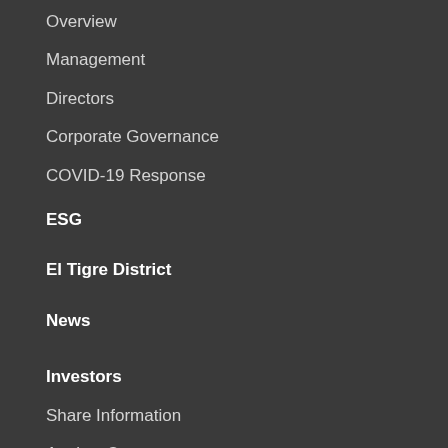Overview
Management
Directors
Corporate Governance
COVID-19 Response
ESG
El Tigre District
News
Investors
Share Information
Analyst Coverage
Webcasts
CEO's Short Video Updates
Articles
Presentations